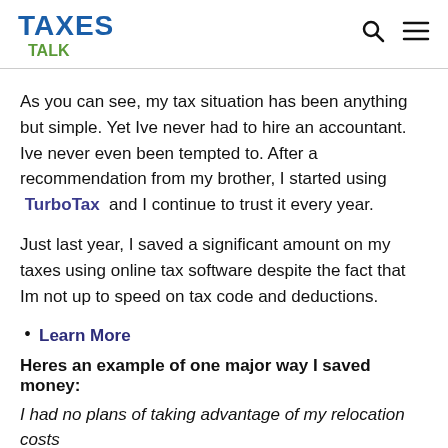TAXES TALK
As you can see, my tax situation has been anything but simple. Yet Ive never had to hire an accountant. Ive never even been tempted to. After a recommendation from my brother, I started using TurboTax and I continue to trust it every year.
Just last year, I saved a significant amount on my taxes using online tax software despite the fact that Im not up to speed on tax code and deductions.
Learn More
Heres an example of one major way I saved money:
I had no plans of taking advantage of my relocation costs